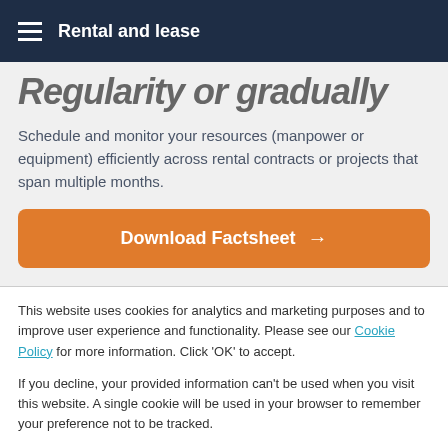Rental and lease
Regularity or gradually
Schedule and monitor your resources (manpower or equipment) efficiently across rental contracts or projects that span multiple months.
[Figure (other): Orange Download Factsheet button with arrow]
This website uses cookies for analytics and marketing purposes and to improve user experience and functionality. Please see our Cookie Policy for more information. Click 'OK' to accept.
If you decline, your provided information can't be used when you visit this website. A single cookie will be used in your browser to remember your preference not to be tracked.
Cookies settings   Accept All